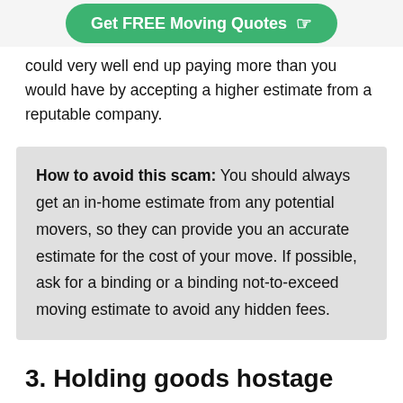[Figure (other): Green button reading 'Get FREE Moving Quotes' with a hand/pointing finger icon]
could very well end up paying more than you would have by accepting a higher estimate from a reputable company.
How to avoid this scam: You should always get an in-home estimate from any potential movers, so they can provide you an accurate estimate for the cost of your move. If possible, ask for a binding or a binding not-to-exceed moving estimate to avoid any hidden fees.
3. Holding goods hostage
If the movers use the price-increase scam above, they may threaten to hold your goods in the truck until you pay